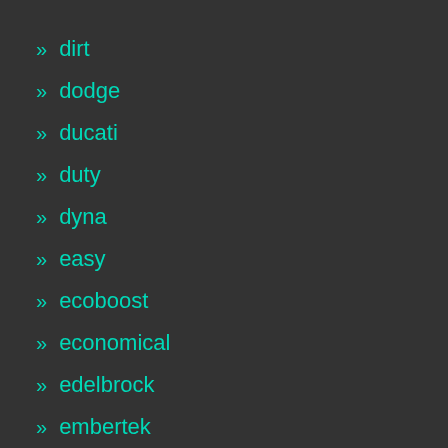» dirt
» dodge
» ducati
» duty
» dyna
» easy
» ecoboost
» economical
» edelbrock
» embertek
» engine
» engineering
» euro2
» every